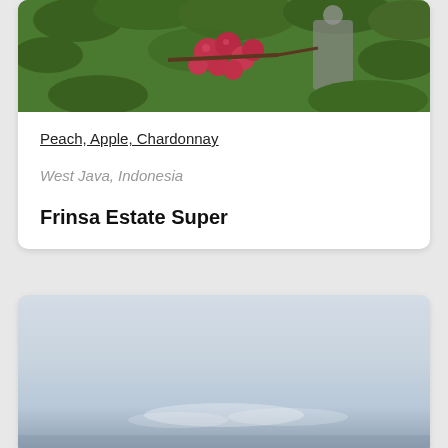[Figure (photo): Photo of coffee cherries on a plant with a person harvesting in the background, lush green foliage]
Peach, Apple, Chardonnay
West Java, Indonesia
Frinsa Estate Super
[Figure (photo): Outdoor landscape photo showing a cloudy sky with muted blue-grey tones, possibly a misty mountain or seascape view]